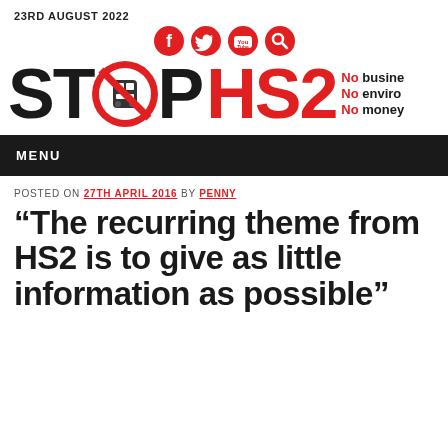23RD AUGUST 2022
[Figure (logo): Stop HS2 logo with social media icons (Facebook, Twitter, YouTube, Search) and red circular train prohibition sign. Text reads STOP HS2 with tagline No business case, No environmental case, No money case.]
MENU
POSTED ON 27TH APRIL 2016 BY PENNY
“The recurring theme from HS2 is to give as little information as possible”